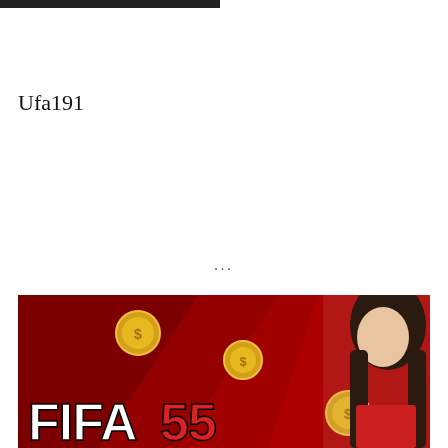Ufa191
...
[Figure (photo): FIFA55 promotional banner with a woman, gold coins on a red background, and the FIFA55 logo in large bold text]